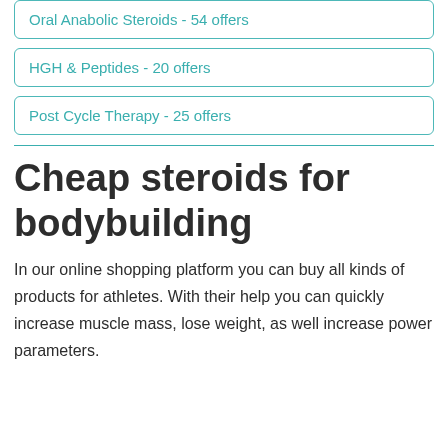Oral Anabolic Steroids - 54 offers
HGH & Peptides - 20 offers
Post Cycle Therapy - 25 offers
Cheap steroids for bodybuilding
In our online shopping platform you can buy all kinds of products for athletes. With their help you can quickly increase muscle mass, lose weight, as well increase power parameters.